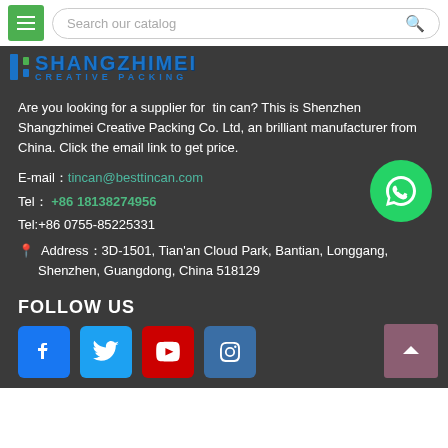Search our catalog
[Figure (logo): Shangzhimei Creative Packing logo with blue text and green accent bars]
Are you looking for a supplier for tin can? This is Shenzhen Shangzhimei Creative Packing Co. Ltd, an brilliant manufacturer from China. Click the email link to get price.
E-mail：tincan@besttincan.com
Tel： +86 18138274956
Tel:+86 0755-85225331
Address：3D-1501, Tian'an Cloud Park, Bantian, Longgang, Shenzhen, Guangdong, China 518129
FOLLOW US
[Figure (infographic): Social media icons: Facebook, Twitter, YouTube, Instagram]